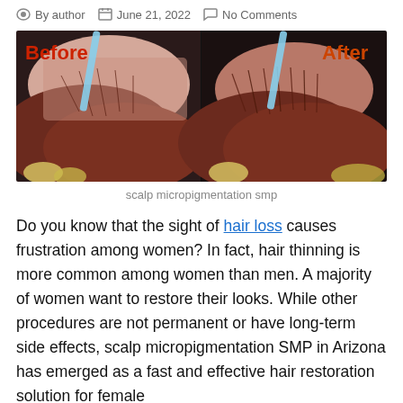By author   June 21, 2022   No Comments
[Figure (photo): Before and after side-by-side photos of scalp micropigmentation SMP treatment on a woman with reddish hair. Left panel labeled 'Before' in red, right panel labeled 'After' in red-orange.]
scalp micropigmentation smp
Do you know that the sight of hair loss causes frustration among women? In fact, hair thinning is more common among women than men. A majority of women want to restore their looks. While other procedures are not permanent or have long-term side effects, scalp micropigmentation SMP in Arizona has emerged as a fast and effective hair restoration solution for female